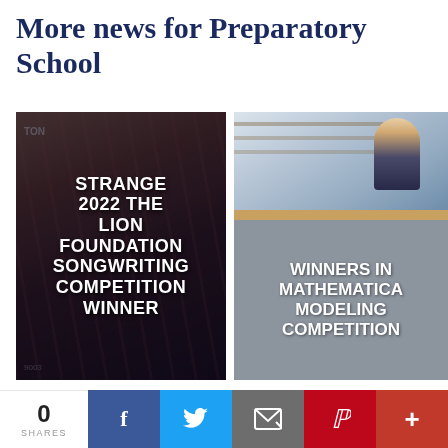More news for Preparatory School
[Figure (photo): News card: student at microphone/event with crowd, overlaid with bold white text reading STRANGE 2022 THE LION FOUNDATION SONGWRITING COMPETITION WINNER]
[Figure (photo): News card: top half shows student in school library/reception, bottom half is grey overlay with bold white text reading WINNERS IN MATHEMATICAL MODELING COMPETITION]
[Figure (photo): Partial thumbnail of a news story at the bottom left, partially cut off]
[Figure (photo): Partial thumbnail of a news story at the bottom right, partially cut off]
0 SHARES  [Facebook] [Twitter] [Email] [Pinterest] [+]